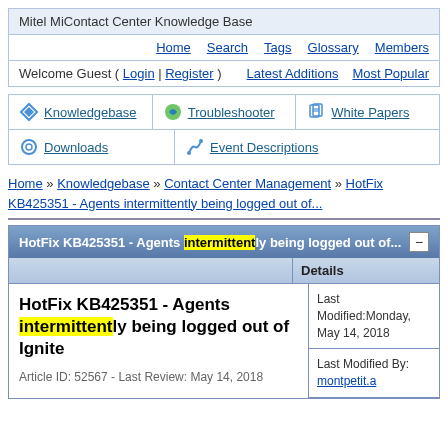Mitel MiContact Center Knowledge Base
Home | Search | Tags | Glossary | Members
Welcome Guest ( Login | Register )   Latest Additions   Most Popular
Knowledgebase | Troubleshooter | White Papers | Downloads | Event Descriptions
Home » Knowledgebase » Contact Center Management » HotFix KB425351 - Agents intermittently being logged out of...
HotFix KB425351 - Agents intermittently being logged out of...
Details
HotFix KB425351 - Agents intermittently being logged out of Ignite
Article ID: 52567 - Last Review: May 14, 2018
Last Modified:Monday, May 14, 2018
Last Modified By: montpetit.a